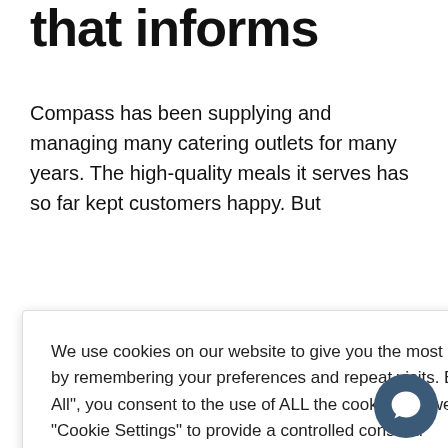that informs
Compass has been supplying and managing many catering outlets for many years. The high-quality meals it serves has so far kept customers happy. But
rants s, Director of of our in terms of o their nal elements, to provi l impact.
We use cookies on our website to give you the most relevant experience by remembering your preferences and repeat visits. By clicking "Accept All", you consent to the use of ALL the cookies. However, you may visit "Cookie Settings" to provide a controlled consent.
were already providing information on allergens